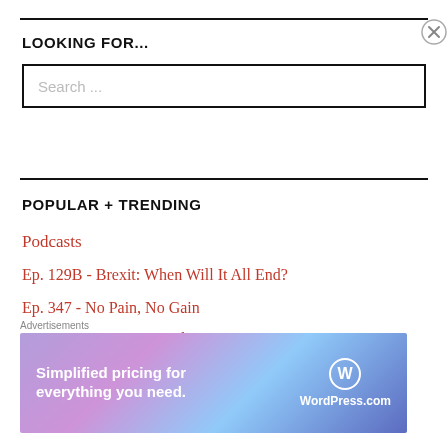LOOKING FOR...
Search ...
POPULAR + TRENDING
Podcasts
Ep. 129B - Brexit: When Will It All End?
Ep. 347 - No Pain, No Gain
Ep. 403 - Next Stop Insolvency
Ep. 87B - Fed Making Sense? No!
[Figure (other): WordPress.com advertisement banner: 'Simplified pricing for everything you need.' with WordPress.com logo on a purple/blue gradient background]